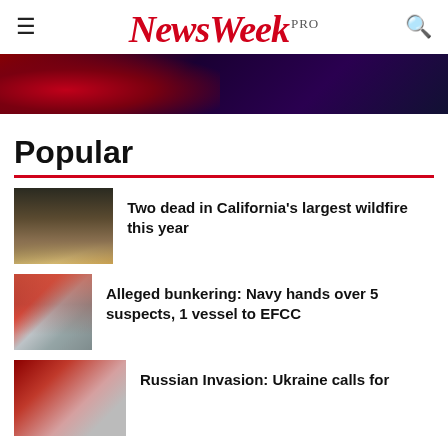NewsWeek PRO
[Figure (photo): Hero banner image with red and dark purple/navy gradient background]
Popular
[Figure (photo): Wildfire damage scene with burnt trees and debris]
Two dead in California's largest wildfire this year
[Figure (photo): Two people in red vests/jackets, possibly a handover scene]
Alleged bunkering: Navy hands over 5 suspects, 1 vessel to EFCC
[Figure (photo): Person in foreground, partial view, Ukraine story thumbnail]
Russian Invasion: Ukraine calls for